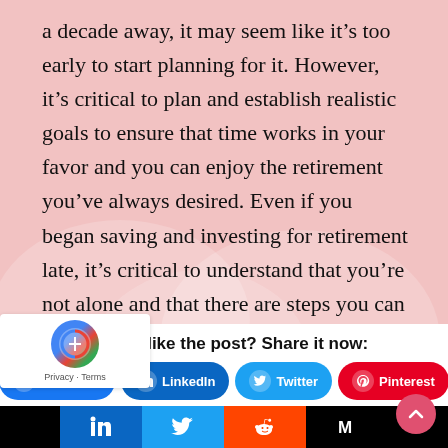a decade away, it may seem like it's too early to start planning for it. However, it's critical to plan and establish realistic goals to ensure that time works in your favor and you can enjoy the retirement you've always desired. Even if you began saving and investing for retirement late, it's critical to understand that you're not alone and that there are steps you can take to enhance your retirement investment.
Did You like the post? Share it now: